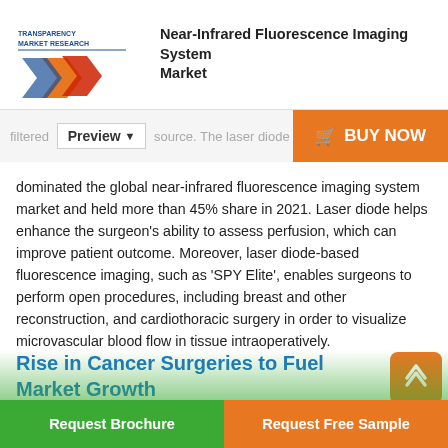Near-Infrared Fluorescence Imaging System Market
filtered source. The laser diode dominated the global near-infrared fluorescence imaging system market and held more than 45% share in 2021. Laser diode helps enhance the surgeon's ability to assess perfusion, which can improve patient outcome. Moreover, laser diode-based fluorescence imaging, such as 'SPY Elite', enables surgeons to perform open procedures, including breast and other reconstruction, and cardiothoracic surgery in order to visualize microvascular blood flow in tissue intraoperatively.
Rise in Cancer Surgeries to Fuel Market Growth
Based on application, the global near-infrared fluorescence imaging system ma...